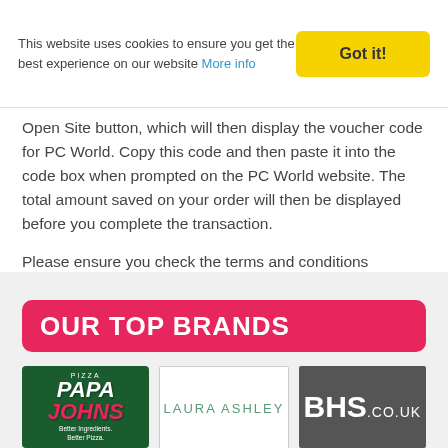This website uses cookies to ensure you get the best experience on our website More info
Open Site button, which will then display the voucher code for PC World. Copy this code and then paste it into the code box when prompted on the PC World website. The total amount saved on your order will then be displayed before you complete the transaction.
Please ensure you check the terms and conditions displayed as most discount codes for PC World cannot be used in conjunction with any other offers on site, which means they will not work with sale items.
OUR TOP BRANDS
[Figure (logo): Papa Johns pizza logo - green background with red and white text]
[Figure (logo): Laura Ashley logo - white background with teal/green text]
[Figure (logo): BHS.co.uk logo - grey background with white text]